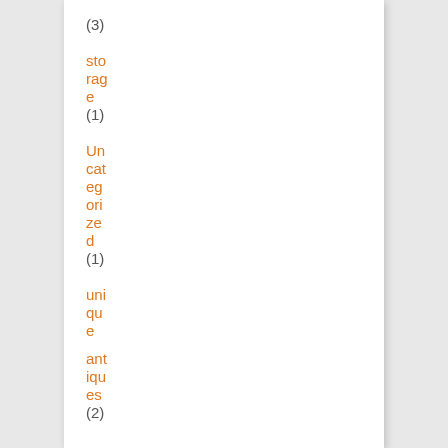(3)
storage (1)
Uncategorized (1)
unique antiques (2)